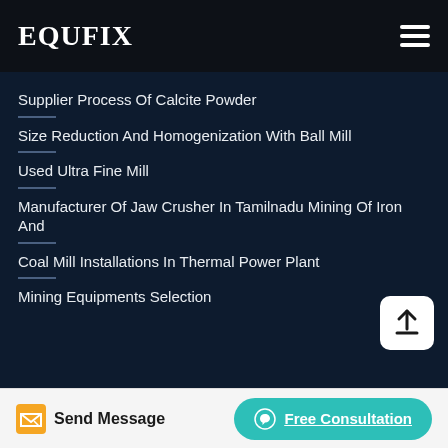EQUFIX
Supplier Process Of Calcite Powder
Size Reduction And Homogenization With Ball Mill
Used Ultra Fine Mill
Manufacturer Of Jaw Crusher In Tamilnadu Mining Of Iron And
Coal Mill Installations In Thermal Power Plant
Mining Equipments Selection
Send Message | Free Consultation